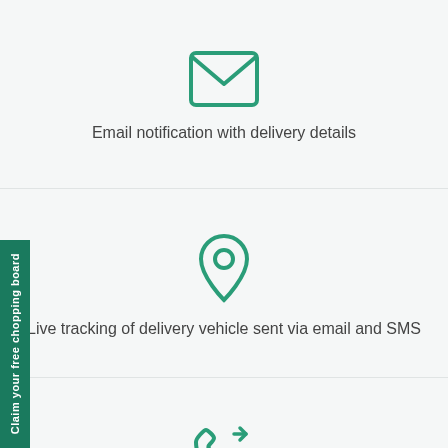[Figure (illustration): Green envelope icon]
Email notification with delivery details
[Figure (illustration): Green map pin / location marker icon]
Live tracking of delivery vehicle sent via email and SMS
[Figure (illustration): Green phone with arrow (call forwarding) icon]
Courtesy call 30 min prior arrival of our 2 man service
Claim your free chopping board